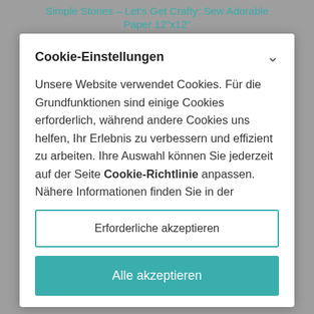Simple Stories – Let's Get Crafty: Sew Adorable Paper 12"x12"
Cookie-Einstellungen
Unsere Website verwendet Cookies. Für die Grundfunktionen sind einige Cookies erforderlich, während andere Cookies uns helfen, Ihr Erlebnis zu verbessern und effizient zu arbeiten. Ihre Auswahl können Sie jederzeit auf der Seite Cookie-Richtlinie anpassen. Nähere Informationen finden Sie in der
Erforderliche akzeptieren
Alle akzeptieren